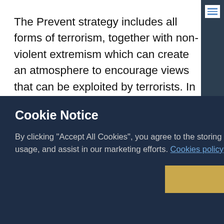The Prevent strategy includes all forms of terrorism, together with non-violent extremism which can create an atmosphere to encourage views that can be exploited by terrorists. In order to prevent people from becoming terrorists or supporting terrorism, it is necessary to challenge these extremist views when they are used to legitimise terrorism. It is therefore important to have interventions that will stop people moving from extremist gro
[Figure (screenshot): Cookie Notice modal overlay on a government document page. Dark navy background modal with title 'Cookie Notice', a close X button, body text about accepting cookies, a 'Cookies policy' link, a gold/yellow 'Accept Cookies' button, and a 'Cookies Settings' text link.]